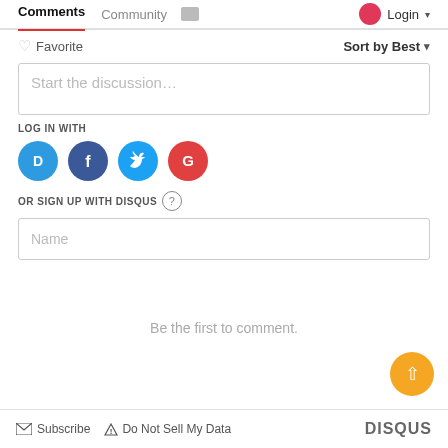Comments  Community  Login
♡ Favorite    Sort by Best ▾
Start the discussion…
LOG IN WITH
[Figure (infographic): Four social login buttons: Disqus (blue), Facebook (dark blue), Twitter (light blue), Google (red)]
OR SIGN UP WITH DISQUS ?
Name
Be the first to comment.
✉ Subscribe  ▲ Do Not Sell My Data    DISQUS